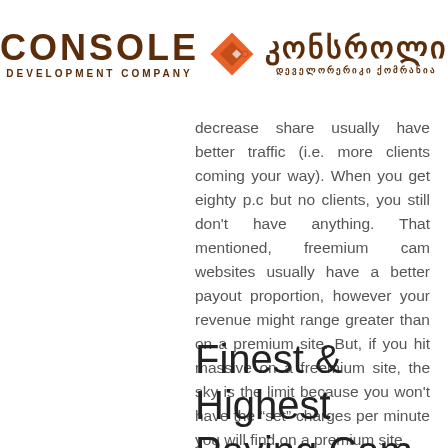[Figure (logo): Console Development Company logo with Georgian text and orange diamond icon]
decrease share usually have better traffic (i.e. more clients coming your way). When you get eighty p.c but no clients, you still don't have anything. That mentioned, freemium cam websites usually have a better payout proportion, however your revenue might range greater than on a premium site. But, if you hit massive on a freemium site, the sky is the limit because you won't have the “set” charges per minute you will find on a premium site.
Finest & Highest Paying Cam